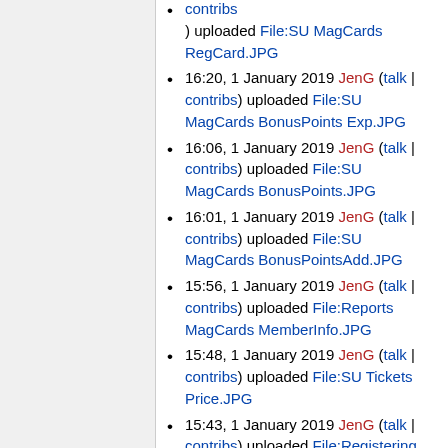16:20, 1 January 2019 JenG (talk | contribs) uploaded File:SU MagCards RegCard.JPG
16:20, 1 January 2019 JenG (talk | contribs) uploaded File:SU MagCards BonusPoints Exp.JPG
16:06, 1 January 2019 JenG (talk | contribs) uploaded File:SU MagCards BonusPoints.JPG
16:01, 1 January 2019 JenG (talk | contribs) uploaded File:SU MagCards BonusPointsAdd.JPG
15:56, 1 January 2019 JenG (talk | contribs) uploaded File:Reports MagCards MemberInfo.JPG
15:48, 1 January 2019 JenG (talk | contribs) uploaded File:SU Tickets Price.JPG
15:43, 1 January 2019 JenG (talk | contribs) uploaded File:Registering...